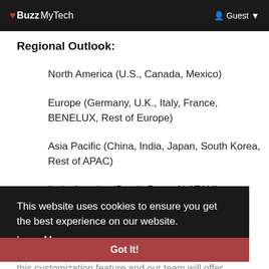Buzz MyTech  Guest
Regional Outlook:
North America (U.S., Canada, Mexico)
Europe (Germany, U.K., Italy, France, BENELUX, Rest of Europe)
Asia Pacific (China, India, Japan, South Korea, Rest of APAC)
Latin America (Brazil, Rest of LATAM)
Middle East Africa (Saudi Arabia, U.A.E., South Africa, Rest of MEA)
This website uses cookies to ensure you get the best experience on our website. Learn More
Got It!
this customization feature and our team will offer